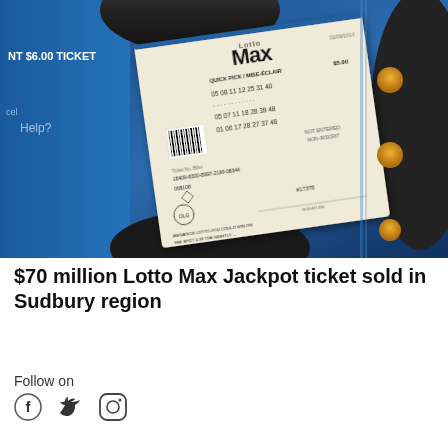[Figure (photo): A Lotto Max lottery ticket in a blue ticket dispenser machine. The ticket shows quick pick numbers and various lottery details including numbers 05, 08, 11, 12, 25, 31, 40 and other rows of numbers, priced at $5.00.]
$70 million Lotto Max Jackpot ticket sold in Sudbury region
Follow on
[Figure (illustration): Social media icons: Facebook (f), Twitter (bird), Instagram (camera)]